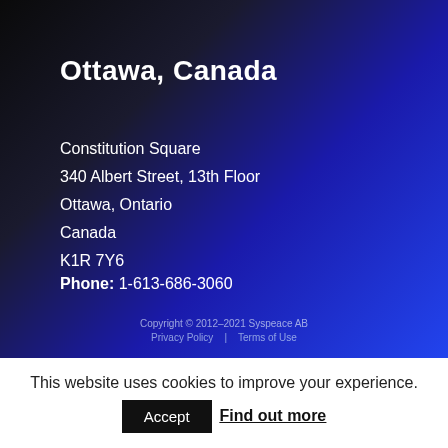Ottawa, Canada
Constitution Square
340 Albert Street, 13th Floor
Ottawa, Ontario
Canada
K1R 7Y6
Phone: 1-613-686-3060
Copyright © 2012–2021 Syspeace AB
Privacy Policy  |  Terms of Use
This website uses cookies to improve your experience.
Accept   Find out more